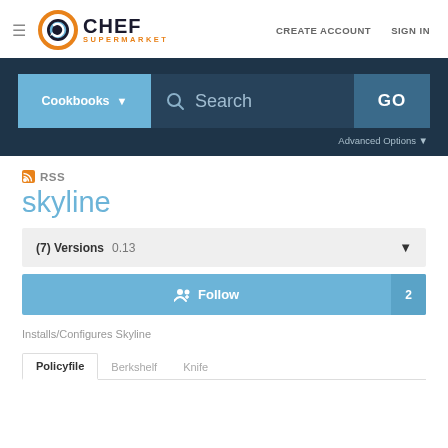[Figure (logo): Chef Supermarket logo with orange circular gear icon and text CHEF SUPERMARKET]
CREATE ACCOUNT   SIGN IN
[Figure (screenshot): Search bar with Cookbooks dropdown, Search input field, and GO button on dark navy background with Advanced Options below]
RSS
skyline
(7) Versions   0.13
Follow  2
Installs/Configures Skyline
Policyfile   Berkshelf   Knife